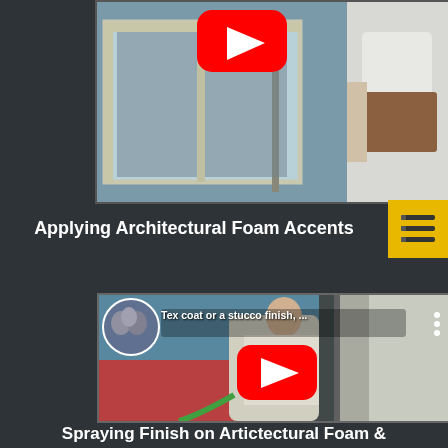[Figure (screenshot): YouTube video thumbnail showing a person applying architectural foam accents near a window, with a level tool visible and another person in a white shirt holding papers on the right side. A YouTube play button is visible at the top center.]
Applying Architectural Foam Accents
[Figure (screenshot): YouTube video thumbnail showing a person spraying finish on a stucco wall exterior. A circular profile image of people is in the top left corner. Text overlay reads 'Tex coat or a stucco finish, ...' with a YouTube play button in the center.]
Spraying Finish on Artictectural Foam & Finishes (1/2)